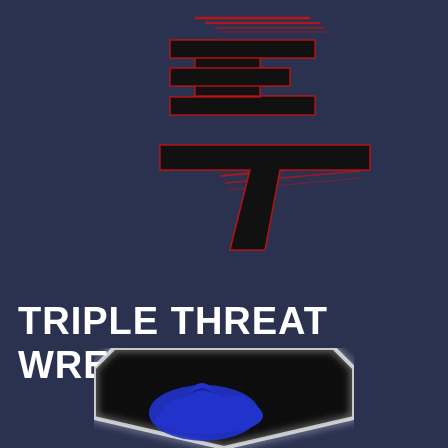[Figure (logo): Triple Threat Wrestling logo: stylized block letters '3' and 'T' in black with red neon outline/glow effect on a dark navy background. The '3' is at the top, the 'T' is below it, both rendered with speed-line style horizontal streaks in red.]
TRIPLE THREAT WRESTLING
[Figure (logo): A wrestling badge/emblem showing a blue silhouette of a wrestler in a takedown position inside a black shield/crest shape with a white glow halo effect, partially visible at the bottom of the page.]